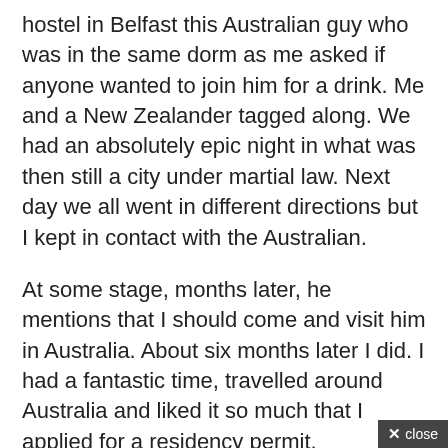hostel in Belfast this Australian guy who was in the same dorm as me asked if anyone wanted to join him for a drink. Me and a New Zealander tagged along. We had an absolutely epic night in what was then still a city under martial law. Next day we all went in different directions but I kept in contact with the Australian.
At some stage, months later, he mentions that I should come and visit him in Australia. About six months later I did. I had a fantastic time, travelled around Australia and liked it so much that I applied for a residency permit.
Thirty years later I'm still here. It's been absolutely great, but none of that would have happened if I